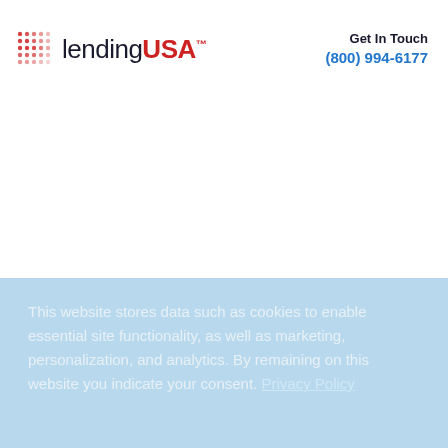[Figure (logo): LendingUSA logo with dot grid icon on the left and company name in dark navy/red text]
Get In Touch
(800) 994-6177
This website stores data such as cookies to enable essential site functionality, as well as marketing, personalization, and analytics. By remaining on this website you indicate your consent. Privacy Policy